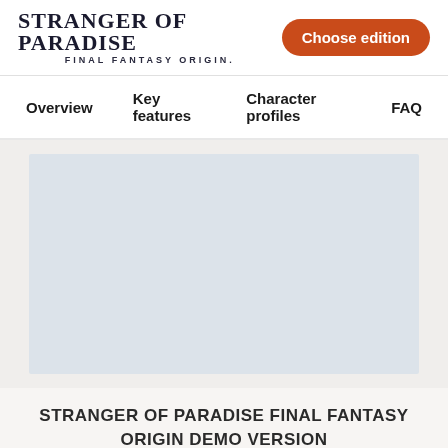STRANGER OF PARADISE FINAL FANTASY ORIGIN. | Choose edition
Overview | Key features | Character profiles | FAQ
[Figure (photo): Large hero image placeholder (light blue-gray rectangle) for Stranger of Paradise Final Fantasy Origin game page]
STRANGER OF PARADISE FINAL FANTASY ORIGIN DEMO VERSION
PS5